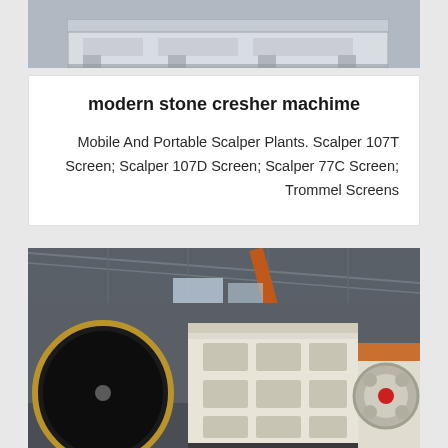[Figure (photo): Top portion of an industrial machine, appears to be a stone crusher or conveyor equipment, light grey/white colored metal structure, partial view cropped at top]
modern stone cresher machime
Mobile And Portable Scalper Plants. Scalper 107T Screen; Scalper 107D Screen; Scalper 77C Screen; Trommel Screens
[Figure (photo): Industrial factory interior showing large jaw crusher equipment in the foreground (white/cream colored with rectangular grid openings), large black cylindrical drum/flywheel on the left, and another orange crusher machine on the right side. Industrial warehouse setting with steel roof trusses visible.]